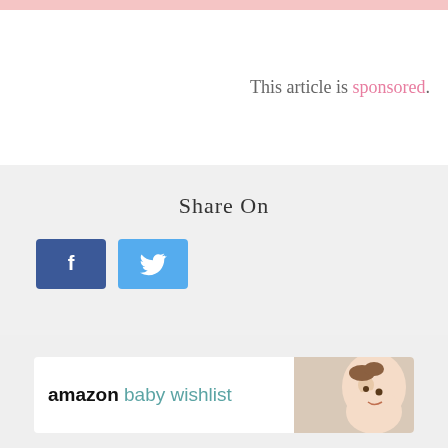This article is sponsored.
Share On
[Figure (infographic): Facebook and Twitter share buttons]
[Figure (infographic): Amazon baby wishlist card with photo of baby]
amazon baby wishlist